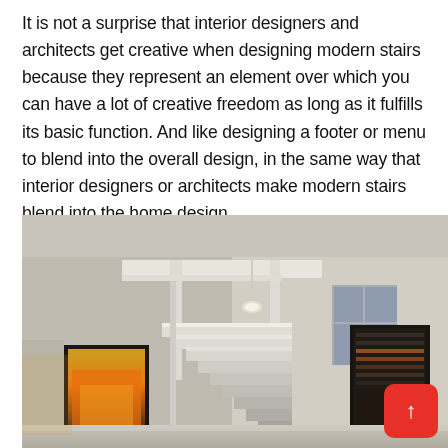It is not a surprise that interior designers and architects get creative when designing modern stairs because they represent an element over which you can have a lot of creative freedom as long as it fulfills its basic function. And like designing a footer or menu to blend into the overall design, in the same way that interior designers or architects make modern stairs blend into the home design.
[Figure (photo): Interior photograph of a modern home showing a minimalist white staircase with floating steps, high ceilings, a fireplace nook, and a dark framed artwork or TV on the right wall. Warm ambient lighting highlights the architectural staircase design.]